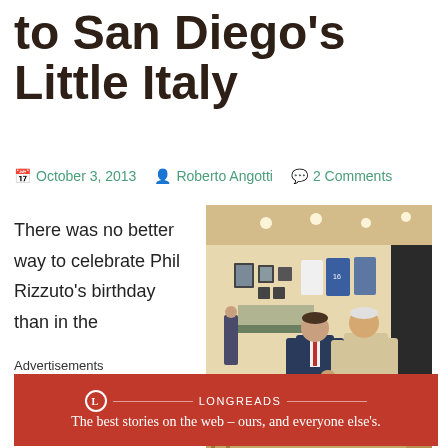to San Diego's Little Italy
October 3, 2013   Roberto Angotti   2 Comments
There was no better way to celebrate Phil Rizzuto's birthday than in the
[Figure (photo): Two men in an exhibition hall or gallery space, one in a dark suit and one in a light shirt, speaking together. Sports jerseys and memorabilia visible on walls in background.]
Advertisements
[Figure (other): Longreads advertisement banner: 'The best stories on the web – ours, and everyone else's.']